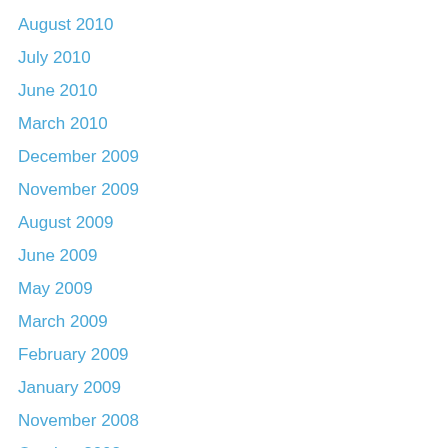August 2010
July 2010
June 2010
March 2010
December 2009
November 2009
August 2009
June 2009
May 2009
March 2009
February 2009
January 2009
November 2008
October 2008
September 2008
June 2008
May 2008
March 2008
February 2008
January 2008